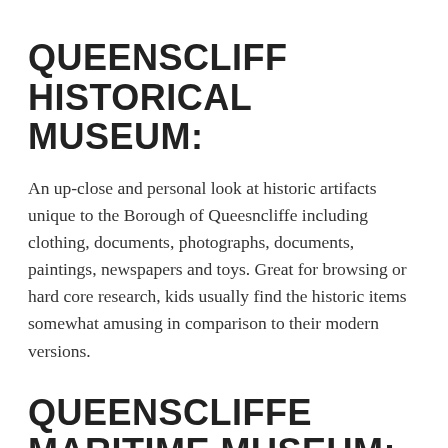QUEENSCLIFF HISTORICAL MUSEUM:
An up-close and personal look at historic artifacts unique to the Borough of Queesncliffe including clothing, documents, photographs, documents, paintings, newspapers and toys. Great for browsing or hard core research, kids usually find the historic items somewhat amusing in comparison to their modern versions.
QUEENSCLIFFE MARITIME MUSEUM:
Fantastic guides eager to share their knowledge of the shipwrecks, the rescues and the history of the town lifeboats. They also explain some of the unique photography...